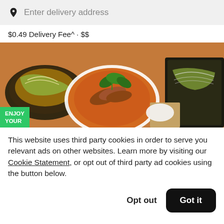Enter delivery address
$0.49 Delivery Fee^ · $$
[Figure (photo): Food photo showing Thai dishes including a bowl of curry with sliced meat and basil leaves, and other dishes. A green badge reads 'ENJOY YOUR' in the bottom left corner.]
This website uses third party cookies in order to serve you relevant ads on other websites. Learn more by visiting our Cookie Statement, or opt out of third party ad cookies using the button below.
Opt out
Got it